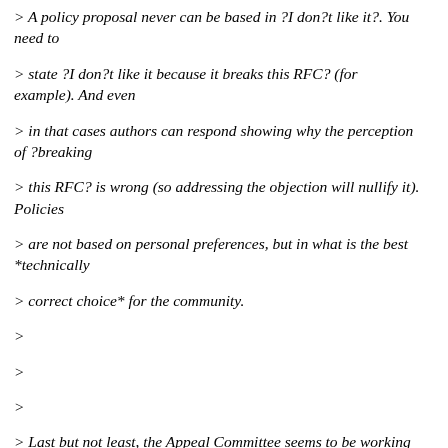> A policy proposal never can be based in ?I don?t like it?. You need to
> state ?I don?t like it because it breaks this RFC? (for example). And even
> in that cases authors can respond showing why the perception of ?breaking
> this RFC? is wrong (so addressing the objection will nullify it). Policies
> are not based on personal preferences, but in what is the best *technically
> correct choice* for the community.
>
>
>
> Last but not least, the Appeal Committee seems to be working as a